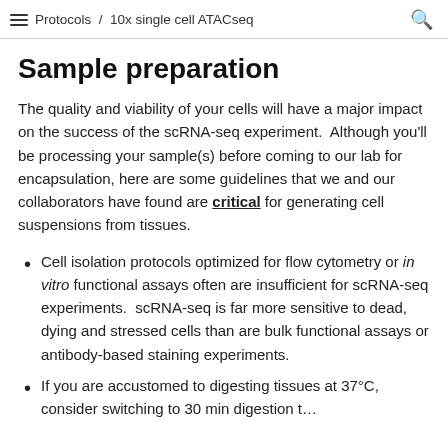Protocols / 10x single cell ATACseq
Sample preparation
The quality and viability of your cells will have a major impact on the success of the scRNA-seq experiment.  Although you'll be processing your sample(s) before coming to our lab for encapsulation, here are some guidelines that we and our collaborators have found are critical for generating cell suspensions from tissues.
Cell isolation protocols optimized for flow cytometry or in vitro functional assays often are insufficient for scRNA-seq experiments.  scRNA-seq is far more sensitive to dead, dying and stressed cells than are bulk functional assays or antibody-based staining experiments.
If you are accustomed to digesting tissues at 37°C, consider switching to 30 min digestion t…